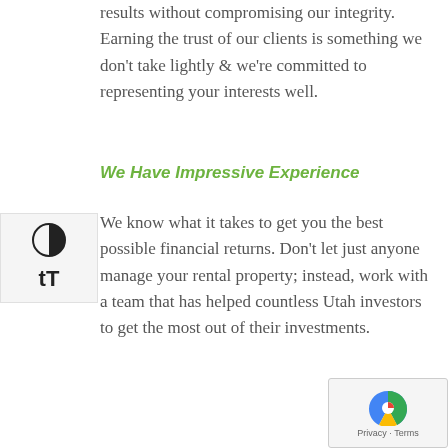results without compromising our integrity. Earning the trust of our clients is something we don't take lightly & we're committed to representing your interests well.
We Have Impressive Experience
We know what it takes to get you the best possible financial returns. Don't let just anyone manage your rental property; instead, work with a team that has helped countless Utah investors to get the most out of their investments.